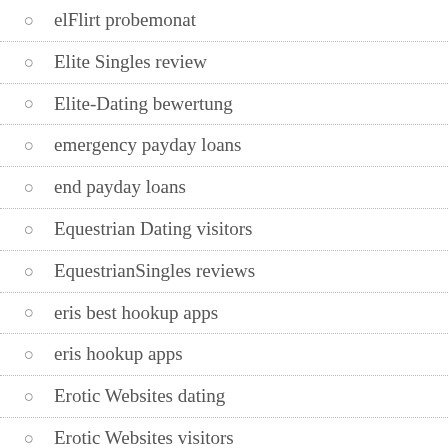elFlirt probemonat
Elite Singles review
Elite-Dating bewertung
emergency payday loans
end payday loans
Equestrian Dating visitors
EquestrianSingles reviews
eris best hookup apps
eris hookup apps
Erotic Websites dating
Erotic Websites visitors
Essay